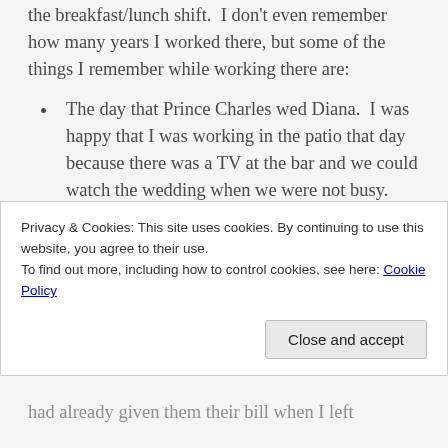waitress at the Sheraton Hotel restaurant working the breakfast/lunch shift.  I don't even remember how many years I worked there, but some of the things I remember while working there are:
The day that Prince Charles wed Diana.  I was happy that I was working in the patio that day because there was a TV at the bar and we could watch the wedding when we were not busy.
The time that I waited on Conway Twitty and
Privacy & Cookies: This site uses cookies. By continuing to use this website, you agree to their use.
To find out more, including how to control cookies, see here: Cookie Policy
had already given them their bill when I left